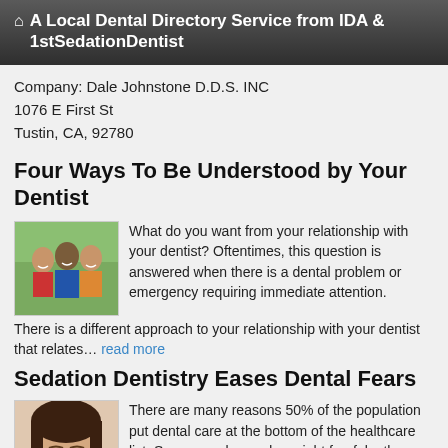A Local Dental Directory Service from IDA & 1stSedationDentist
Company: Dale Johnstone D.D.S. INC
1076 E First St
Tustin, CA, 92780
Four Ways To Be Understood by Your Dentist
[Figure (photo): Family photo with man, woman, and child smiling outdoors]
What do you want from your relationship with your dentist? Oftentimes, this question is answered when there is a dental problem or emergency requiring immediate attention. There is a different approach to your relationship with your dentist that relates… read more
Sedation Dentistry Eases Dental Fears
[Figure (photo): Woman with eyes closed, relaxed expression, close-up portrait]
There are many reasons 50% of the population put dental care at the bottom of the healthcare list: Some people are downright fearful, others have suffered bad